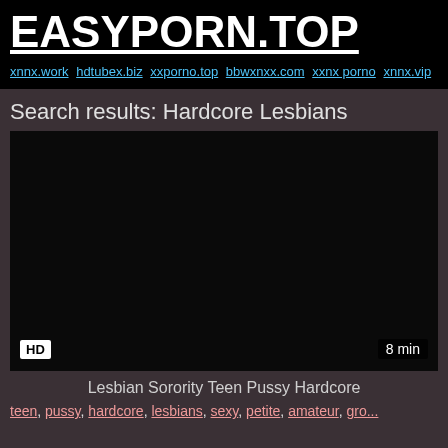EASYPORN.TOP
xnnx.work hdtubex.biz xxporno.top bbwxnxx.com xxnx porno xnnx.vip
Search results: Hardcore Lesbians
[Figure (screenshot): Dark video thumbnail with HD badge bottom-left and 8 min duration badge bottom-right]
Lesbian Sorority Teen Pussy Hardcore
teen, pussy, hardcore, lesbians, sexy, petite, amateur, gro...